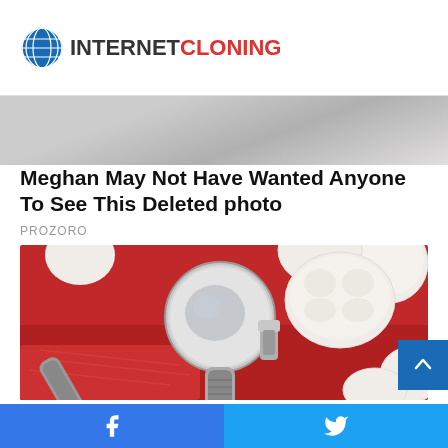INTERNET CLONING
[Figure (photo): Partial photo visible at top under header bar — blurred background image]
Meghan May Not Have Wanted Anyone To See This Deleted photo
PROZORO
[Figure (photo): Dental implant medical illustration showing teeth model with dental mirror and implant tool on red background]
The Cost Of New Dental Implants Might Surprise